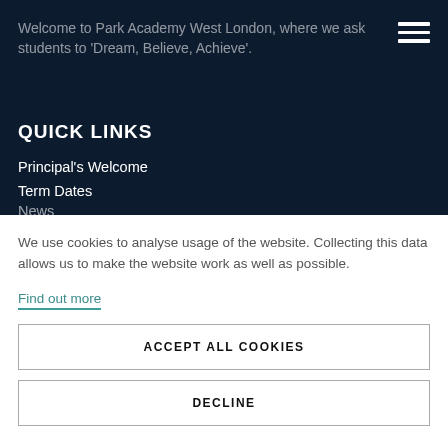Welcome to Park Academy West London, where we ask students to 'Dream, Believe, Achieve'.
QUICK LINKS
Principal's Welcome
Term Dates
News
We use cookies to analyse usage of the website. Collecting this data allows us to make the website work as well as possible.
Find out more
ACCEPT ALL COOKIES
DECLINE